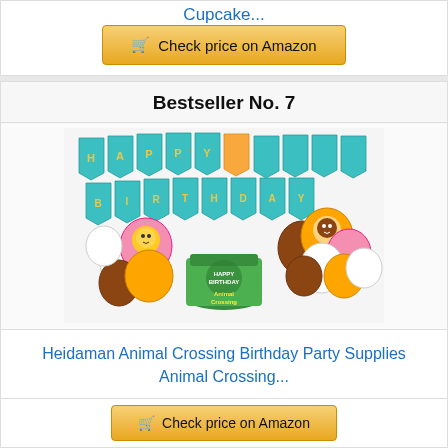Cupcake...
[Figure (other): Check price on Amazon button with shopping cart icon]
Bestseller No. 7
[Figure (photo): Heidaman Animal Crossing Birthday Party Supplies product photo showing HAPPY BIRTHDAY banner, Animal Crossing character balloons, and a decorated birthday cake]
Heidaman Animal Crossing Birthday Party Supplies Animal Crossing...
[Figure (other): Check price on Amazon button (partially visible at bottom)]